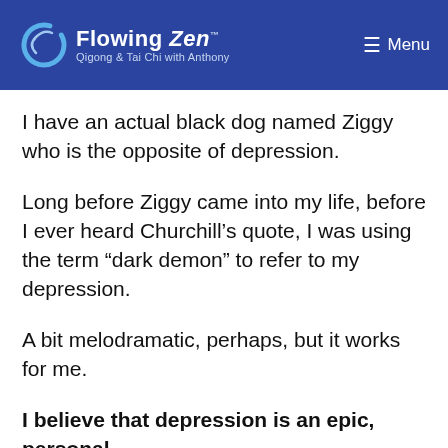Flowing Zen — Qigong & Tai Chi with Anthony | Menu
I have an actual black dog named Ziggy who is the opposite of depression.
Long before Ziggy came into my life, before I ever heard Churchill’s quote, I was using the term “dark demon” to refer to my depression.
A bit melodramatic, perhaps, but it works for me.
I believe that depression is an epic, personal